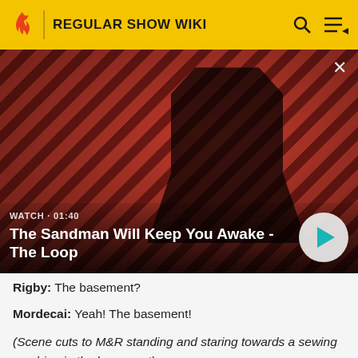REGULAR SHOW WIKI
[Figure (screenshot): Video thumbnail showing a dark figure with a raven on a diagonal striped red/dark background. Title overlay: 'The Sandman Will Keep You Awake - The Loop'. Watch duration: 01:40. Play button visible.]
Rigby: The basement?
Mordecai: Yeah! The basement!
(Scene cuts to M&R standing and staring towards a sewing machine in the basement).